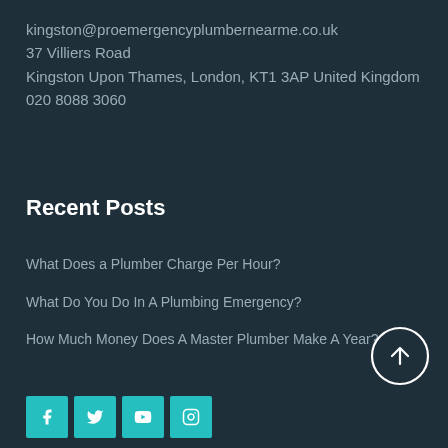kingston@proemergencyplumbernearme.co.uk
37 Villiers Road
Kingston Upon Thames, London, KT1 3AP United Kingdom
020 8088 3060
Recent Posts
What Does a Plumber Charge Per Hour?
What Do You Do In A Plumbing Emergency?
How Much Money Does A Master Plumber Make A Year?
[Figure (other): Back to top circular arrow button]
[Figure (other): Social media icons: Facebook, Twitter, YouTube, Instagram in teal squares]